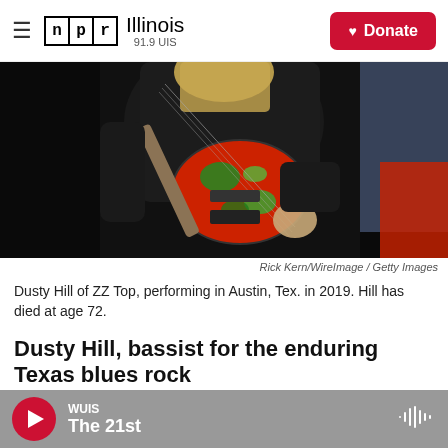NPR Illinois 91.9 UIS — Donate
[Figure (photo): Dusty Hill of ZZ Top performing on stage, wearing all black, holding a colorful red and green bass guitar against a dark background with a red light on the right side.]
Rick Kern/WireImage / Getty Images
Dusty Hill of ZZ Top, performing in Austin, Tex. in 2019. Hill has died at age 72.
Dusty Hill, bassist for the enduring Texas blues rock
WUIS The 21st